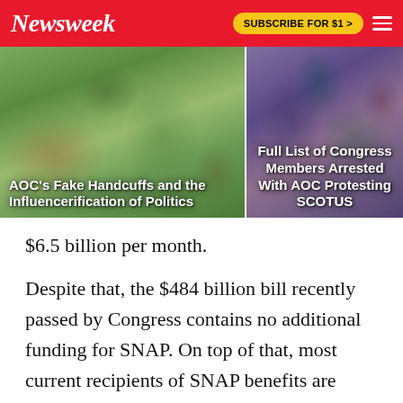Newsweek | SUBSCRIBE FOR $1 >
[Figure (photo): Two side-by-side news photos. Left: crowd of protesters outdoors under trees with caption 'AOC's Fake Handcuffs and the Influencerification of Politics'. Right: crowd of protesters with a megaphone with caption 'Full List of Congress Members Arrested With AOC Protesting SCOTUS'.]
$6.5 billion per month.
Despite that, the $484 billion bill recently passed by Congress contains no additional funding for SNAP. On top of that, most current recipients of SNAP benefits are required to purchase groceries inside of stores, increasing their chances of contracting Covid-19.